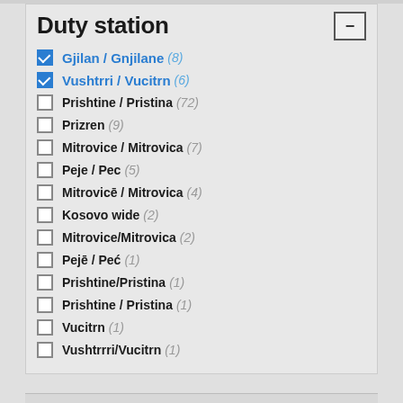Duty station
Gjilan / Gnjilane (8) [checked]
Vushtrri / Vucitrn (6) [checked]
Prishtine / Pristina (72)
Prizren (9)
Mitrovice / Mitrovica (7)
Peje / Pec (5)
Mitrovicē / Mitrovica (4)
Kosovo wide (2)
Mitrovice/Mitrovica (2)
Pejē / Peć (1)
Prishtine/Pristina (1)
Prishtine / Pristina (1)
Vucitrn (1)
Vushtrrri/Vucitrn (1)